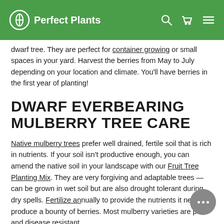Perfect Plants
dwarf tree. They are perfect for container growing or small spaces in your yard. Harvest the berries from May to July depending on your location and climate. You'll have berries in the first year of planting!
DWARF EVERBEARING MULBERRY TREE CARE
Native mulberry trees prefer well drained, fertile soil that is rich in nutrients. If your soil isn't productive enough, you can amend the native soil in your landscape with our Fruit Tree Planting Mix. They are very forgiving and adaptable trees — can be grown in wet soil but are also drought tolerant during dry spells. Fertilize annually to provide the nutrients it needs to produce a bounty of berries. Most mulberry varieties are pest and disease resistant.